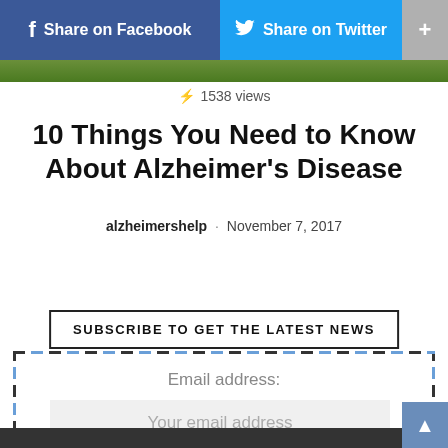[Figure (screenshot): Social sharing bar with Facebook and Twitter buttons and a plus button]
[Figure (photo): Green nature/grass image strip]
⚡ 1538 views
10 Things You Need to Know About Alzheimer's Disease
alzheimershelp · November 7, 2017
SUBSCRIBE TO GET THE LATEST NEWS
Email address:
Your email address